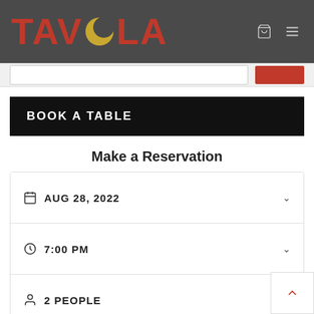[Figure (logo): Tavola restaurant logo with red lettering and gold moon/crescent icon, on dark grey background with cart and hamburger menu icons]
BOOK A TABLE
Make a Reservation
AUG 28, 2022
7:00 PM
2 PEOPLE
Find a Table